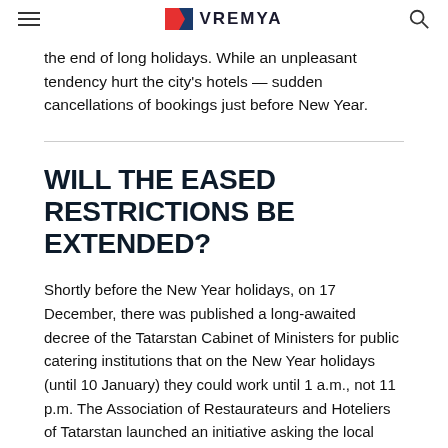VREMYA
the end of long holidays. While an unpleasant tendency hurt the city's hotels — sudden cancellations of bookings just before New Year.
WILL THE EASED RESTRICTIONS BE EXTENDED?
Shortly before the New Year holidays, on 17 December, there was published a long-awaited decree of the Tatarstan Cabinet of Ministers for public catering institutions that on the New Year holidays (until 10 January) they could work until 1 a.m., not 11 p.m. The Association of Restaurateurs and Hoteliers of Tatarstan launched an initiative asking the local authorities to ease the restrictions on New Year's Eve. The authorities met them halfway, while one could hang out in a restaurant until 3 a.m. on New Year's Eve. The publication of the decree of the Cabinet of Ministers had an effect. There was big interest in Kazan cafes and